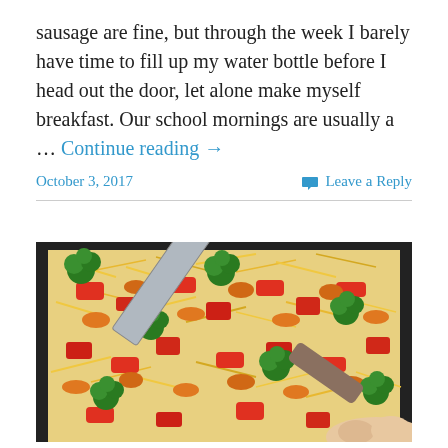sausage are fine, but through the week I barely have time to fill up my water bottle before I head out the door, let alone make myself breakfast. Our school mornings are usually a … Continue reading →
October 3, 2017    Leave a Reply
[Figure (photo): A baking tray with broccoli, red bell peppers, shredded cheese, being cut with a large knife held by a hand visible at the bottom right.]